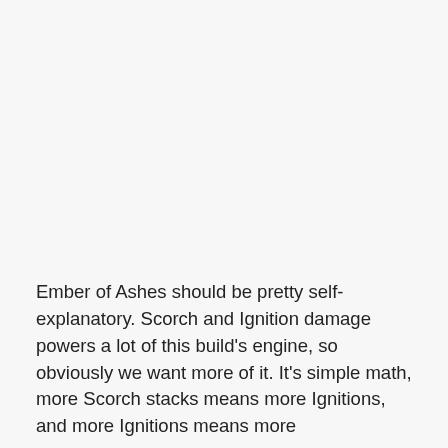Ember of Ashes should be pretty self-explanatory. Scorch and Ignition damage powers a lot of this build's engine, so obviously we want more of it. It's simple math, more Scorch stacks means more Ignitions, and more Ignitions means more